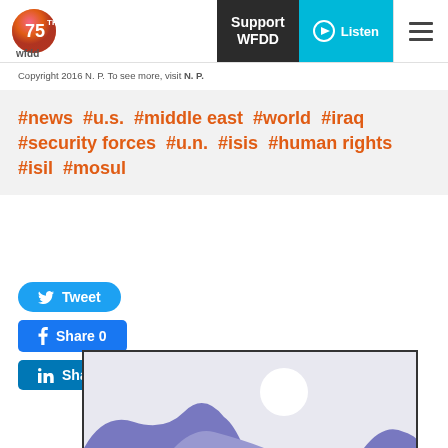WFDD 75th - Support WFDD | Listen | Navigation
Copyright 2016 N. P. To see more, visit N. P.
#news #u.s. #middle east #world #iraq #security forces #u.n. #isis #human rights #isil #mosul
Tweet | Share 0 | Share
[Figure (illustration): Illustrated map graphic with purple shapes suggesting terrain and a white circle suggesting the moon or sun, on a light background]